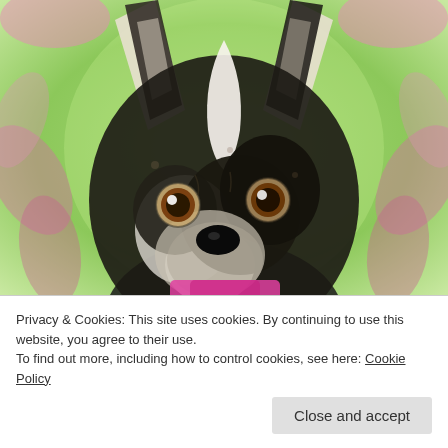[Figure (illustration): Watercolor-style illustration of a Boston Terrier dog face, black and white markings, brown eyes, looking upward slightly. The background is a colorful kaleidoscopic pattern with green, pink, and white tones. The dog appears to be wearing a pink collar. The image is cropped to show the head and upper chest area.]
Privacy & Cookies: This site uses cookies. By continuing to use this website, you agree to their use.
To find out more, including how to control cookies, see here: Cookie Policy
Close and accept